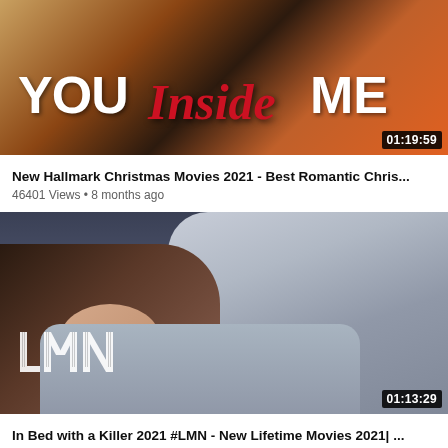[Figure (screenshot): Video thumbnail for Hallmark Christmas movie titled YOU Inside ME with duration badge 01:19:59]
New Hallmark Christmas Movies 2021 - Best Romantic Chris...
46401 Views • 8 months ago
[Figure (screenshot): Video thumbnail showing woman lying in bed looking frightened with LMN logo, duration badge 01:13:29]
In Bed with a Killer 2021 #LMN - New Lifetime Movies 2021| ...
41034 Views • 8 months ago
[Figure (screenshot): Partial video thumbnail at bottom of page]